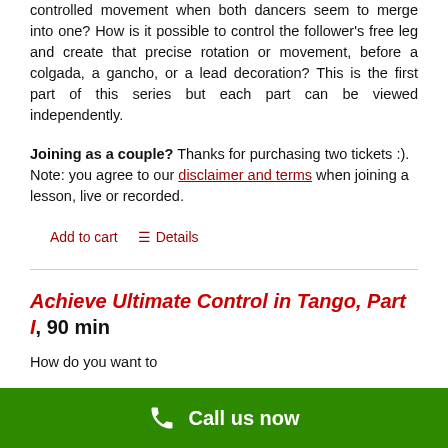controlled movement when both dancers seem to merge into one? How is it possible to control the follower's free leg and create that precise rotation or movement, before a colgada, a gancho, or a lead decoration? This is the first part of this series but each part can be viewed independently.
Joining as a couple? Thanks for purchasing two tickets :). Note: you agree to our disclaimer and terms when joining a lesson, live or recorded.
Add to cart   Details
Achieve Ultimate Control in Tango, Part I, 90 min
How do you want to...
Call us now